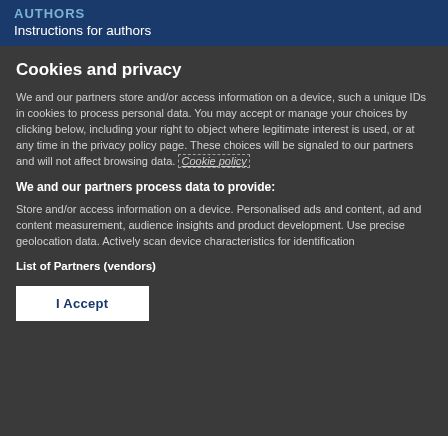AUTHORS
Instructions for authors
Cookies and privacy
We and our partners store and/or access information on a device, such a unique IDs in cookies to process personal data. You may accept or manage your choices by clicking below, including your right to object where legitimate interest is used, or at any time in the privacy policy page. These choices will be signaled to our partners and will not affect browsing data. Cookie policy
We and our partners process data to provide:
Store and/or access information on a device. Personalised ads and content, ad and content measurement, audience insights and product development. Use precise geolocation data. Actively scan device characteristics for identification
List of Partners (vendors)
I Accept